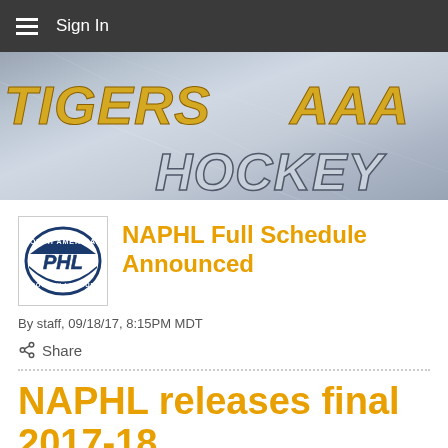Sign In
[Figure (illustration): Tigers AAA Hockey banner with gold and silver stylized italic text on a grey ice rink background]
NAPHL Full Schedule Announced
By staff, 09/18/17, 8:15PM MDT
Share
NAPHL releases final 2017-18